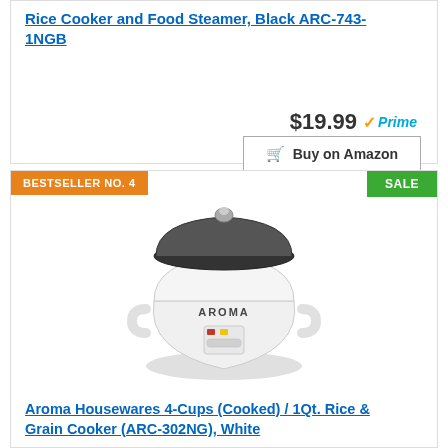Rice Cooker and Food Steamer, Black ARC-743-1NGB
$19.99 Prime
Buy on Amazon
BESTSELLER NO. 4
SALE
[Figure (photo): White Aroma brand rice cooker with glass lid and small control panel, model ARC-302NG]
Aroma Housewares 4-Cups (Cooked) / 1Qt. Rice & Grain Cooker (ARC-302NG), White
$15.99 Prime